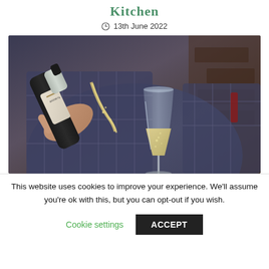Kitchen
13th June 2022
[Figure (photo): A person in a plaid jacket pouring champagne from a bottle into a tall flute glass, with bubbles visible. The setting appears to be indoors with warm lighting.]
This website uses cookies to improve your experience. We'll assume you're ok with this, but you can opt-out if you wish.
Cookie settings
ACCEPT